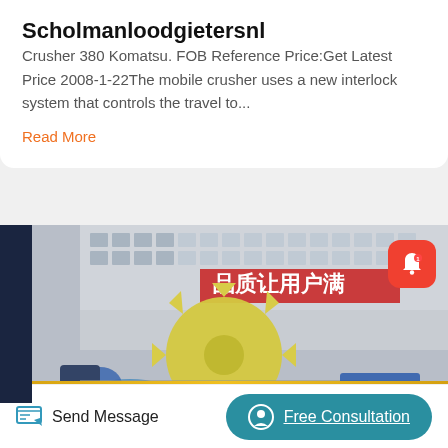Scholmanloodgietersnl
Crusher 380 Komatsu. FOB Reference Price:Get Latest Price 2008-1-22The mobile crusher uses a new interlock system that controls the travel to...
Read More
[Figure (photo): Photo of a large yellow industrial crusher/gear wheel machine in front of a building with Chinese characters signage.]
Send Message
Free Consultation